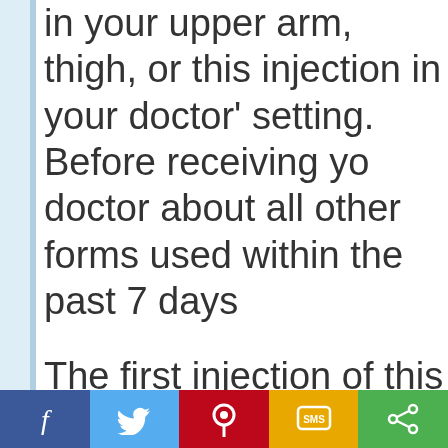in your upper arm, thigh, or this injection in your doctor's setting. Before receiving yo doctor about all other forms used within the past 7 days
The first injection of this me first 5 days of a normal men days after undergoing a com abortion.
[Figure (other): Social sharing bar with Facebook, Twitter, Pinterest, SMS, and Share buttons]